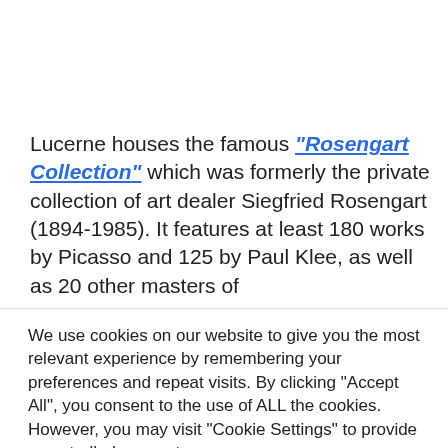Lucerne houses the famous "Rosengart Collection" which was formerly the private collection of art dealer Siegfried Rosengart (1894-1985). It features at least 180 works by Picasso and 125 by Paul Klee, as well as 20 other masters of
We use cookies on our website to give you the most relevant experience by remembering your preferences and repeat visits. By clicking "Accept All", you consent to the use of ALL the cookies. However, you may visit "Cookie Settings" to provide a controlled consent.